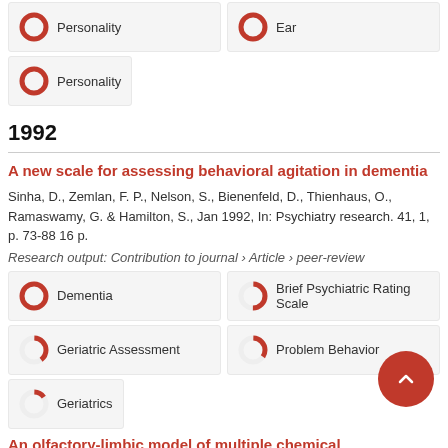[Figure (infographic): Badge with ~100% donut icon and label 'Personality']
[Figure (infographic): Badge with ~100% donut icon and label 'Ear']
[Figure (infographic): Badge with ~100% donut icon and label 'Personality']
1992
A new scale for assessing behavioral agitation in dementia
Sinha, D., Zemlan, F. P., Nelson, S., Bienenfeld, D., Thienhaus, O., Ramaswamy, G. & Hamilton, S., Jan 1992, In: Psychiatry research. 41, 1, p. 73-88 16 p.
Research output: Contribution to journal › Article › peer-review
[Figure (infographic): Badge with ~100% donut icon and label 'Dementia']
[Figure (infographic): Badge with ~50% donut icon and label 'Brief Psychiatric Rating Scale']
[Figure (infographic): Badge with ~40% donut icon and label 'Geriatric Assessment']
[Figure (infographic): Badge with ~35% donut icon and label 'Problem Behavior']
[Figure (infographic): Badge with ~15% donut icon and label 'Geriatrics']
An olfactory-limbic model of multiple chemical